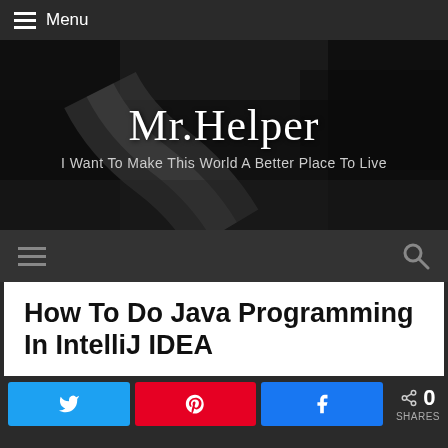Menu
[Figure (photo): Black and white photo of a winding road through a dark forest, used as hero banner background]
Mr.Helper
I Want To Make This World A Better Place To Live
How To Do Java Programming In IntelliJ IDEA
0 SHARES